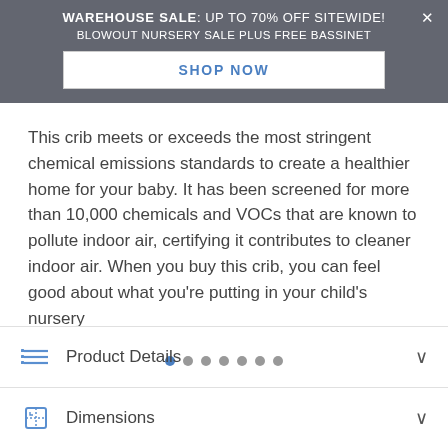WAREHOUSE SALE: UP TO 70% OFF SITEWIDE! BLOWOUT NURSERY SALE PLUS FREE BASSINET SHOP NOW
This crib meets or exceeds the most stringent chemical emissions standards to create a healthier home for your baby. It has been screened for more than 10,000 chemicals and VOCs that are known to pollute indoor air, certifying it contributes to cleaner indoor air. When you buy this crib, you can feel good about what you're putting in your child's nursery
[Figure (other): Pagination dots: 7 dots with first dot highlighted in blue]
Product Details
Dimensions